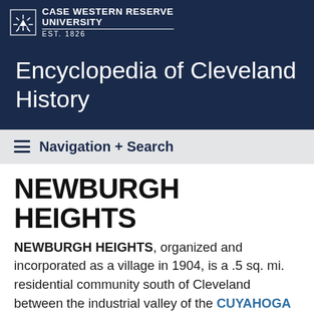Case Western Reserve University Est. 1826
Encyclopedia of Cleveland History
Navigation + Search
NEWBURGH HEIGHTS
NEWBURGH HEIGHTS, organized and incorporated as a village in 1904, is a .5 sq. mi. residential community south of Cleveland between the industrial valley of the CUYAHOGA RIVER and the village of CUYAHOGA HTS. It was originally part of Newburgh Twp. The name was